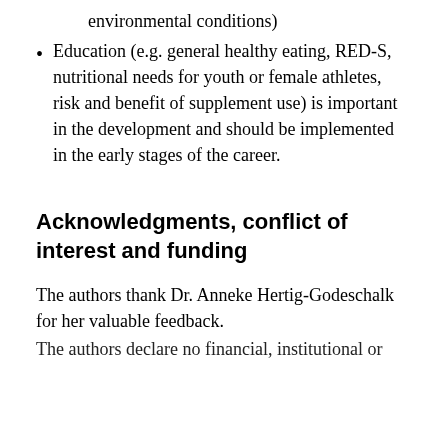environmental conditions)
Education (e.g. general healthy eating, RED-S, nutritional needs for youth or female athletes, risk and benefit of supplement use) is important in the development and should be implemented in the early stages of the career.
Acknowledgments, conflict of interest and funding
The authors thank Dr. Anneke Hertig-Godeschalk for her valuable feedback.
The authors declare no financial, institutional or